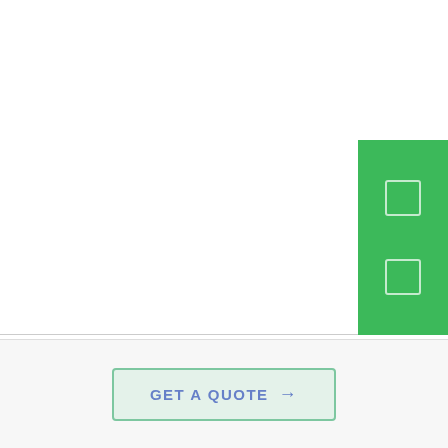[Figure (illustration): Green gear/cog with plant sprout icon on top, with radiating lines suggesting energy/savings. Green outline style.]
Save Your Money
[Figure (other): Green sidebar panel on the right with two small white rectangular icon placeholders]
GET A QUOTE →